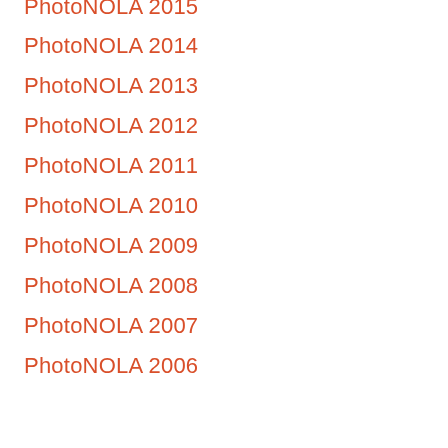PhotoNOLA 2015
PhotoNOLA 2014
PhotoNOLA 2013
PhotoNOLA 2012
PhotoNOLA 2011
PhotoNOLA 2010
PhotoNOLA 2009
PhotoNOLA 2008
PhotoNOLA 2007
PhotoNOLA 2006